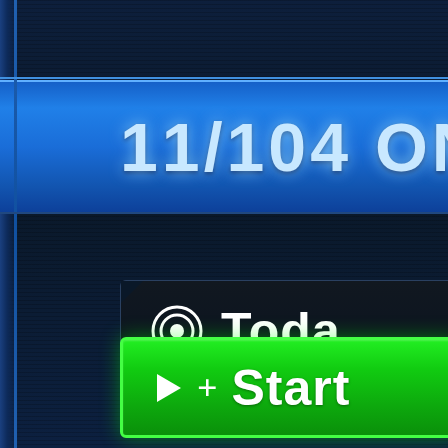[Figure (screenshot): Game or app UI screenshot showing a dark blue background with horizontal scanlines. A bright blue header band displays '11/104 ON' in large bold futuristic font (partially cut off on right). Below is a dark panel with a bullseye/target icon and 'Toda' text (Today, partially cut off). At the bottom is a bright green Start button with a play triangle icon and '+ Start' text (partially cut off). A vertical blue stripe runs along the left edge.]